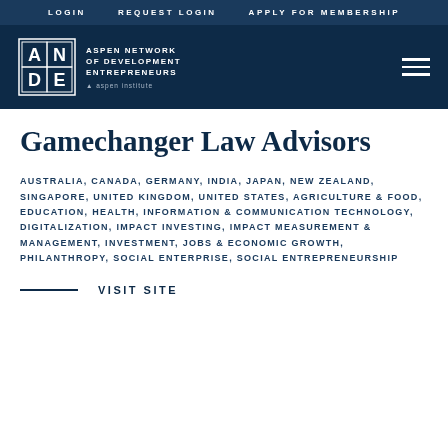LOGIN   REQUEST LOGIN   APPLY FOR MEMBERSHIP
[Figure (logo): ANDE - Aspen Network of Development Entrepreneurs logo with Aspen Institute branding, white on dark navy background, with hamburger menu icon on right]
Gamechanger Law Advisors
AUSTRALIA, CANADA, GERMANY, INDIA, JAPAN, NEW ZEALAND, SINGAPORE, UNITED KINGDOM, UNITED STATES, AGRICULTURE & FOOD, EDUCATION, HEALTH, INFORMATION & COMMUNICATION TECHNOLOGY, DIGITALIZATION, IMPACT INVESTING, IMPACT MEASUREMENT & MANAGEMENT, INVESTMENT, JOBS & ECONOMIC GROWTH, PHILANTHROPY, SOCIAL ENTERPRISE, SOCIAL ENTREPRENEURSHIP
VISIT SITE